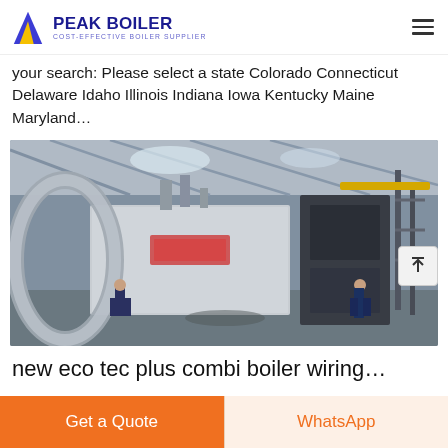PEAK BOILER — COST-EFFECTIVE BOILER SUPPLIER
your search: Please select a state Colorado Connecticut Delaware Idaho Illinois Indiana Iowa Kentucky Maine Maryland…
[Figure (photo): Industrial boiler equipment inside a large factory/warehouse. Large silver/metallic boiler units are visible with workers standing nearby. The facility has a high steel-truss roof with natural lighting from skylights.]
new eco tec plus combi boiler wiring…
Get a Quote
WhatsApp